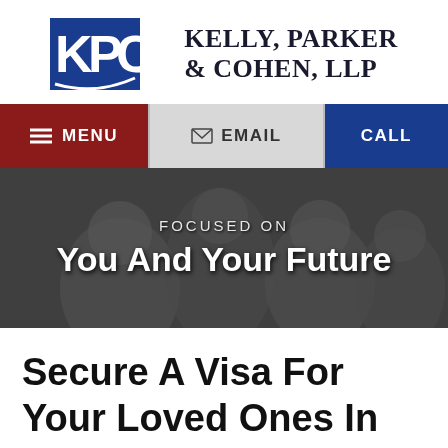[Figure (logo): KPC logo with blue square, white KPC letters, and firm name 'Kelly, Parker & Cohen, LLP' to the right]
[Figure (infographic): Navigation bar with three sections: red MENU button with hamburger icon, gray EMAIL button with envelope icon, blue CALL button]
[Figure (photo): Hero banner with darkened family photo background, text 'FOCUSED ON' and 'You And Your Future']
Secure A Visa For Your Loved Ones In The U.S.